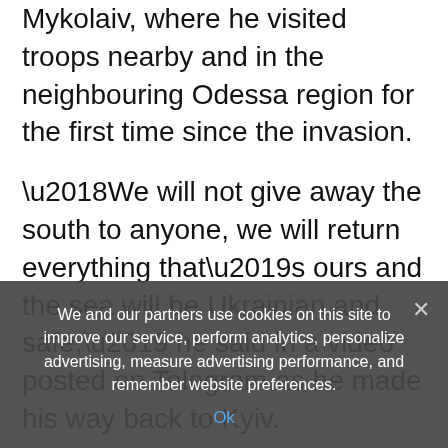Mykolaiv, where he visited troops nearby and in the neighbouring Odessa region for the first time since the invasion.
‘We will not give away the south to anyone, we will return everything that’s ours and the sea will be Ukrainian and safe,’ he said in a video posted on Telegram as he made his way back to Kyiv.
Russia’s defence ministry said Sunday it launched missile strikes during the past 24 hours, with one attack on a top-level Ukrainian
We and our partners use cookies on this site to improve our service, perform analytics, personalize advertising, measure advertising performance, and remember website preferences.